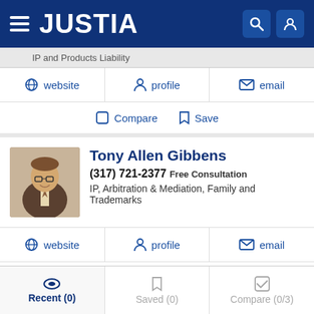JUSTIA
IP and Products Liability
website  profile  email
Compare  Save
Tony Allen Gibbens
(317) 721-2377  Free Consultation
IP, Arbitration & Mediation, Family and Trademarks
website  profile  email
Compare  Save
Recent (0)  Saved (0)  Compare (0/3)